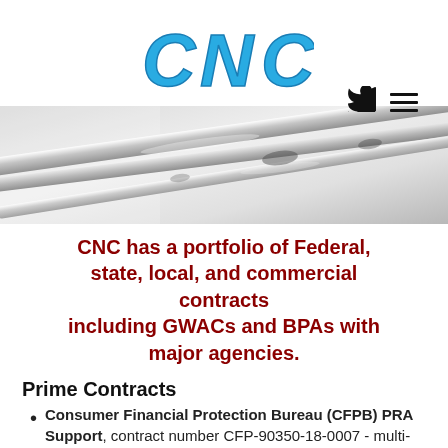[Figure (logo): CNC logo in blue stylized bubble letters]
[Figure (photo): Close-up photo of metal pens or writing instruments on a reflective surface, black and white tones]
CNC has a portfolio of Federal, state, local, and commercial contracts including GWACs and BPAs with major agencies.
Prime Contracts
Consumer Financial Protection Bureau (CFPB) PRA Support, contract number CFP-90350-18-0007 - multi-year contract